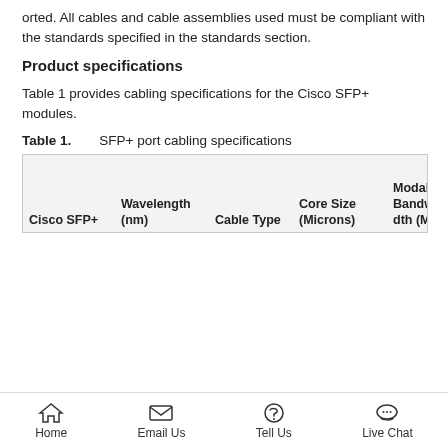orted. All cables and cable assemblies used must be compliant with the standards specified in the standards section.
Product specifications
Table 1 provides cabling specifications for the Cisco SFP+ modules.
Table 1.    SFP+ port cabling specifications
| Cisco SFP+ | Wavelength (nm) | Cable Type | Core Size (Microns) | Modal Bandwidth (M | Cable Distance (n |
| --- | --- | --- | --- | --- | --- |
Home  Email Us  Tell Us  Live Chat